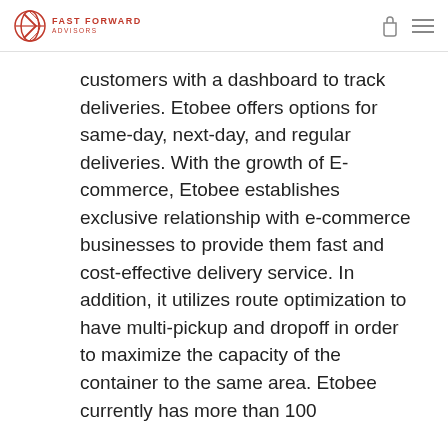FAST FORWARD ADVISORS
customers with a dashboard to track deliveries. Etobee offers options for same-day, next-day, and regular deliveries. With the growth of E-commerce, Etobee establishes exclusive relationship with e-commerce businesses to provide them fast and cost-effective delivery service. In addition, it utilizes route optimization to have multi-pickup and dropoff in order to maximize the capacity of the container to the same area. Etobee currently has more than 100